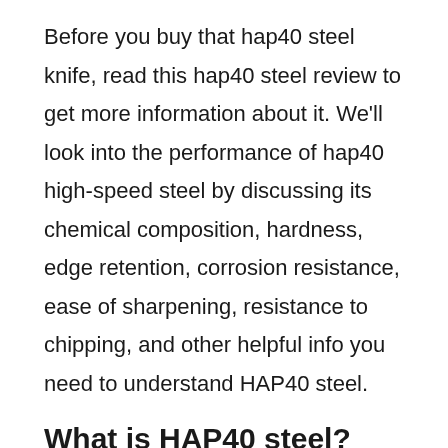Before you buy that hap40 steel knife, read this hap40 steel review to get more information about it. We'll look into the performance of hap40 high-speed steel by discussing its chemical composition, hardness, edge retention, corrosion resistance, ease of sharpening, resistance to chipping, and other helpful info you need to understand HAP40 steel.
What is HAP40 steel?
HAP40 is high-speed tool steel manufactured